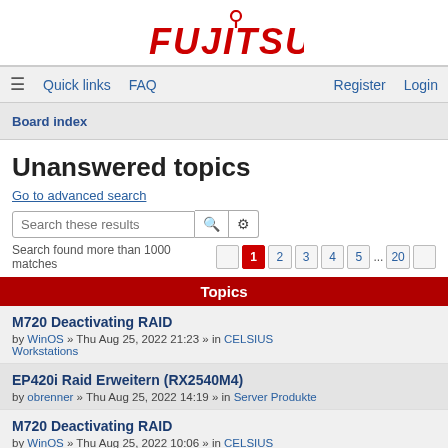[Figure (logo): Fujitsu logo in red with circular icon above text]
Quick links   FAQ   Register   Login
Board index
Unanswered topics
Go to advanced search
Search these results
Search found more than 1000 matches  1  2  3  4  5  ...  20
Topics
M720 Deactivating RAID
by WinOS » Thu Aug 25, 2022 21:23 » in CELSIUS Workstations
EP420i Raid Erweitern (RX2540M4)
by obrenner » Thu Aug 25, 2022 14:19 » in Server Produkte
M720 Deactivating RAID
by WinOS » Thu Aug 25, 2022 10:06 » in CELSIUS